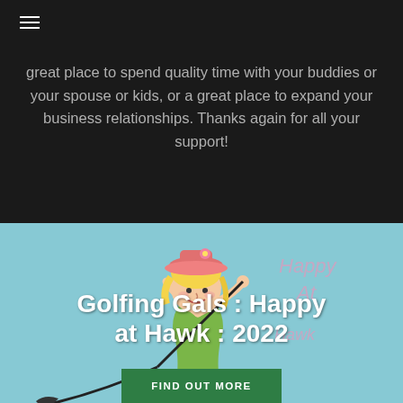≡
great place to spend quality time with your buddies or your spouse or kids, or a great place to expand your business relationships. Thanks again for all your support!
[Figure (illustration): Cartoon illustration of a woman golfer swinging a golf club, with text 'Happy At Hawk' in the background, on a light blue background]
Golfing Gals : Happy at Hawk : 2022
FIND OUT MORE